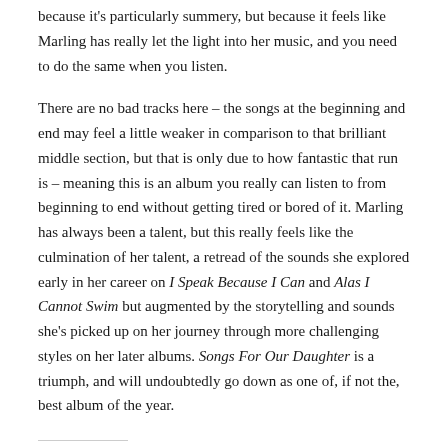because it's particularly summery, but because it feels like Marling has really let the light into her music, and you need to do the same when you listen.
There are no bad tracks here – the songs at the beginning and end may feel a little weaker in comparison to that brilliant middle section, but that is only due to how fantastic that run is – meaning this is an album you really can listen to from beginning to end without getting tired or bored of it. Marling has always been a talent, but this really feels like the culmination of her talent, a retread of the sounds she explored early in her career on I Speak Because I Can and Alas I Cannot Swim but augmented by the storytelling and sounds she's picked up on her journey through more challenging styles on her later albums. Songs For Our Daughter is a triumph, and will undoubtedly go down as one of, if not the, best album of the year.
Share this: